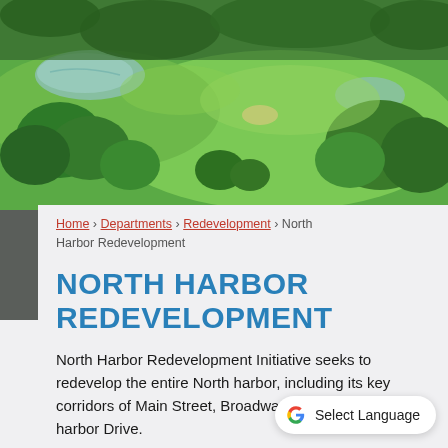[Figure (photo): Aerial view of green golf course or park land with trees, grass, and a small pond visible from above]
Home › Departments › Redevelopment › North Harbor Redevelopment
NORTH HARBOR REDEVELOPMENT
North Harbor Redevelopment Initiative seeks to redevelop the entire North harbor, including its key corridors of Main Street, Broadway, Guthrie and Indiana harbor Drive.